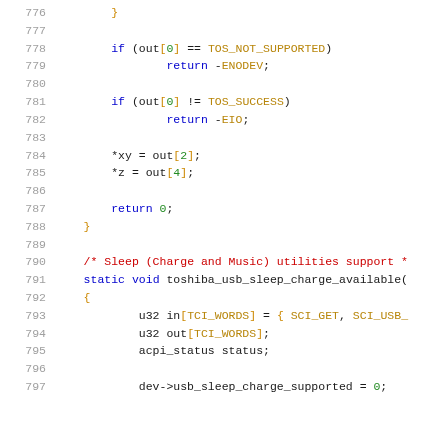Source code listing lines 776-797, C kernel code for toshiba USB sleep charge utility